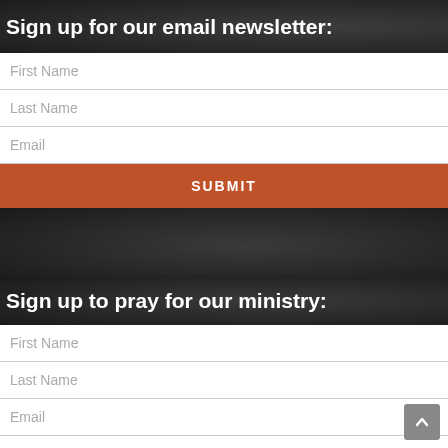Sign up for our email newsletter:
First Name
Last Name
Email
SUBMIT
Sign up to pray for our ministry:
First Name
Last Name
Email